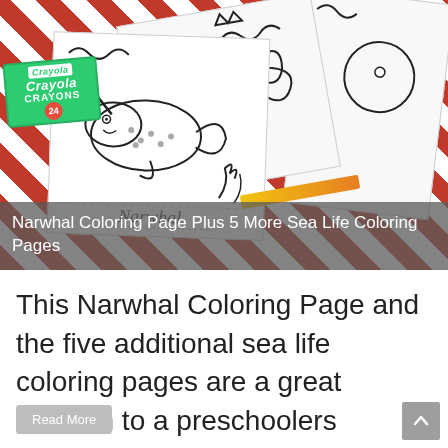[Figure (photo): Photo of narwhal coloring pages spread on a red checkered tablecloth alongside a Crayola 24 crayons box and a yellow crayon. The coloring pages show narwhal drawings. A semi-transparent gray overlay at the bottom of the photo contains white text reading 'Narwhal Coloring Page Plus 5 More Sea Life Coloring Pages'.]
Narwhal Coloring Page Plus 5 More Sea Life Coloring Pages
This Narwhal Coloring Page and the five additional sea life coloring pages are a great addition to a preschoolers introduction